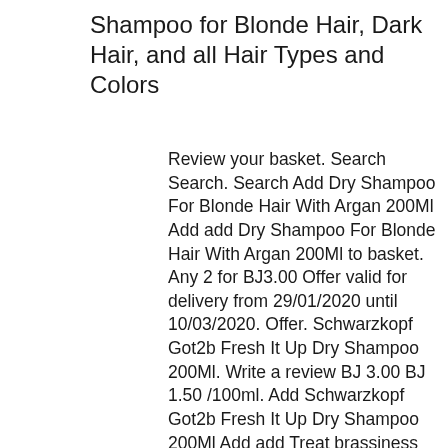Shampoo for Blonde Hair, Dark Hair, and all Hair Types and Colors
Review your basket. Search Search. Search Add Dry Shampoo For Blonde Hair With Argan 200Ml Add add Dry Shampoo For Blonde Hair With Argan 200Ml to basket. Any 2 for BJ3.00 Offer valid for delivery from 29/01/2020 until 10/03/2020. Offer. Schwarzkopf Got2b Fresh It Up Dry Shampoo 200Ml. Write a review BJ 3.00 BJ 1.50 /100ml. Add Schwarzkopf Got2b Fresh It Up Dry Shampoo 200Ml Add add Treat brassiness and